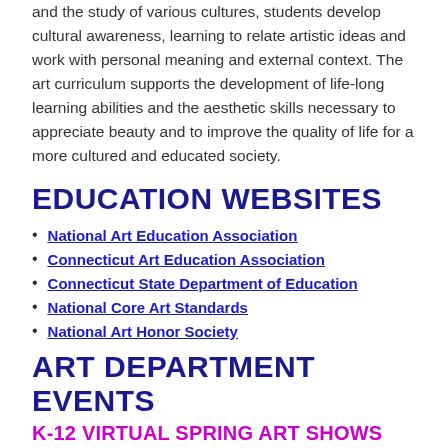and the study of various cultures, students develop cultural awareness, learning to relate artistic ideas and work with personal meaning and external context. The art curriculum supports the development of life-long learning abilities and the aesthetic skills necessary to appreciate beauty and to improve the quality of life for a more cultured and educated society.
EDUCATION WEBSITES
National Art Education Association
Connecticut Art Education Association
Connecticut State Department of Education
National Core Art Standards
National Art Honor Society
ART DEPARTMENT EVENTS
K-12 VIRTUAL SPRING ART SHOWS
Here you can see select works from each of the schools in the district. Click the link below.
SCROLL to see Grade K-3 and 9-12.
Click to play Grade 4-5 and 6-8.